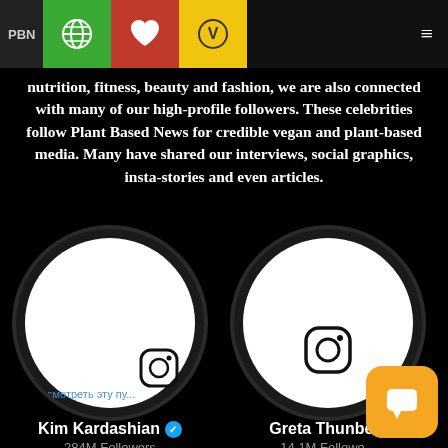PBN navigation bar with globe, heart, vegan icons
nutrition, fitness, beauty and fashion, we are also connected with many of our high-profile followers. These celebrities follow Plant Based News for credible vegan and plant-based media. Many have shared our interviews, social graphics, insta-stories and even articles.
[Figure (photo): Instagram profile circle for Kim Kardashian with Instagram logo and Russian text watermark overlay]
Kim Kardashian ✓ 284M Followers
[Figure (photo): Instagram profile circle for Greta Thunberg with Instagram logo]
Greta Thunbe... 14.1M Followe...